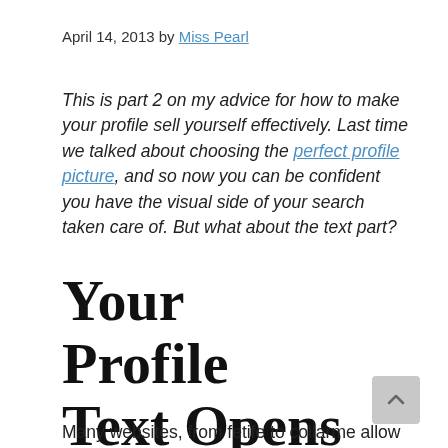April 14, 2013 by Miss Pearl
This is part 2 on my advice for how to make your profile sell yourself effectively. Last time we talked about choosing the perfect profile picture, and so now you can be confident you have the visual side of your search taken care of. But what about the text part?
Your Profile Text Opens a Conversation
Many websites, from fetife to collarme allow